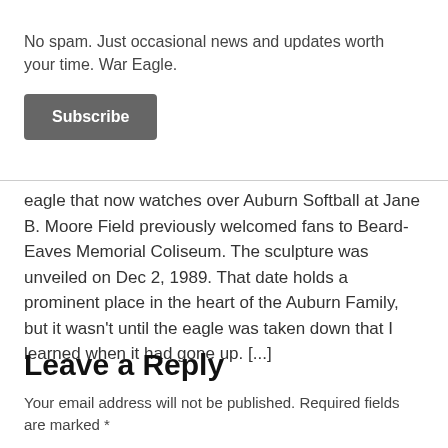No spam. Just occasional news and updates worth your time. War Eagle.
Subscribe
eagle that now watches over Auburn Softball at Jane B. Moore Field previously welcomed fans to Beard-Eaves Memorial Coliseum. The sculpture was unveiled on Dec 2, 1989. That date holds a prominent place in the heart of the Auburn Family, but it wasn't until the eagle was taken down that I learned when it had gone up. [...]
Leave a Reply
Your email address will not be published. Required fields are marked *